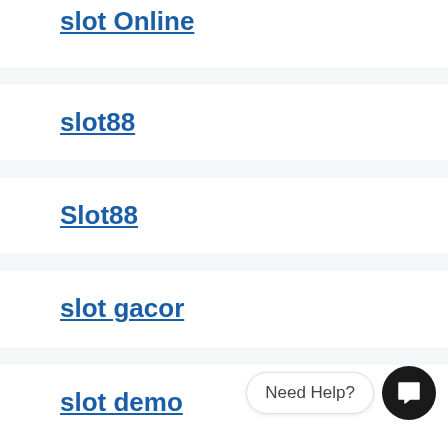slot Online
slot88
Slot88
slot gacor
slot demo